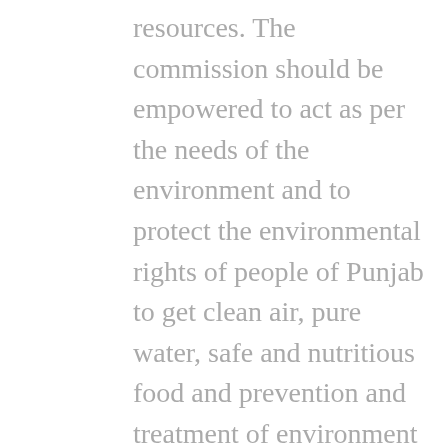resources. The commission should be empowered to act as per the needs of the environment and to protect the environmental rights of people of Punjab to get clean air, pure water, safe and nutritious food and prevention and treatment of environment